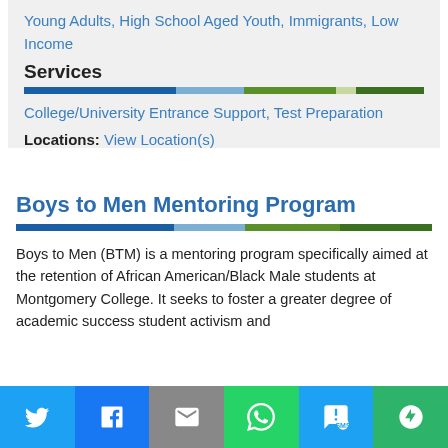Young Adults, High School Aged Youth, Immigrants, Low Income
Services
College/University Entrance Support, Test Preparation
Locations: View Location(s)
Boys to Men Mentoring Program
Boys to Men (BTM) is a mentoring program specifically aimed at the retention of African American/Black Male students at Montgomery College. It seeks to foster a greater degree of academic success student activism and